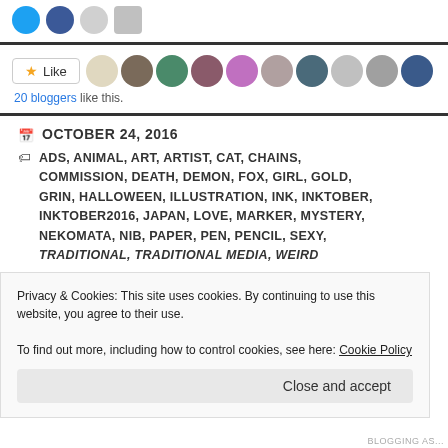[Figure (other): Social sharing icons: Twitter (blue circle), Facebook (blue circle), print (grey circle), email (grey square)]
[Figure (other): Like button with star icon and a row of 10 blogger avatar profile images]
20 bloggers like this.
OCTOBER 24, 2016
ADS, ANIMAL, ART, ARTIST, CAT, CHAINS, COMMISSION, DEATH, DEMON, FOX, GIRL, GOLD, GRIN, HALLOWEEN, ILLUSTRATION, INK, INKTOBER, INKTOBER2016, JAPAN, LOVE, MARKER, MYSTERY, NEKOMATA, NIB, PAPER, PEN, PENCIL, SEXY, TRADITIONAL, TRADITIONAL MEDIA, WEIRD
Privacy & Cookies: This site uses cookies. By continuing to use this website, you agree to their use.
To find out more, including how to control cookies, see here: Cookie Policy
Close and accept